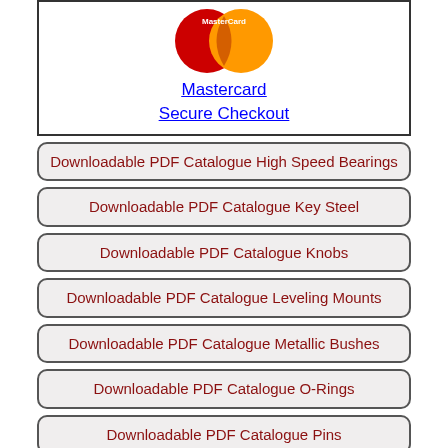[Figure (logo): Mastercard logo with red and yellow overlapping circles]
Mastercard
Secure Checkout
Downloadable PDF Catalogue High Speed Bearings
Downloadable PDF Catalogue Key Steel
Downloadable PDF Catalogue Knobs
Downloadable PDF Catalogue Leveling Mounts
Downloadable PDF Catalogue Metallic Bushes
Downloadable PDF Catalogue O-Rings
Downloadable PDF Catalogue Pins
Downloadable PDF Catalogue Plastic Bearings
Pay By